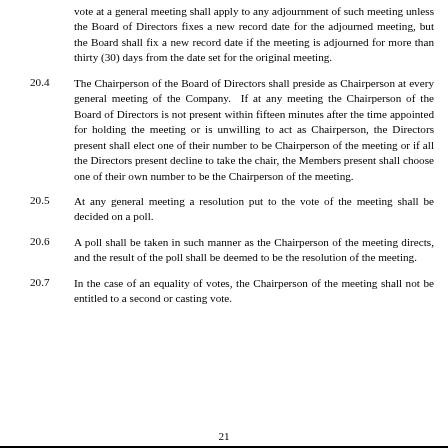vote at a general meeting shall apply to any adjournment of such meeting unless the Board of Directors fixes a new record date for the adjourned meeting, but the Board shall fix a new record date if the meeting is adjourned for more than thirty (30) days from the date set for the original meeting.
20.4	The Chairperson of the Board of Directors shall preside as Chairperson at every general meeting of the Company.  If at any meeting the Chairperson of the Board of Directors is not present within fifteen minutes after the time appointed for holding the meeting or is unwilling to act as Chairperson, the Directors present shall elect one of their number to be Chairperson of the meeting or if all the Directors present decline to take the chair, the Members present shall choose one of their own number to be the Chairperson of the meeting.
20.5	At any general meeting a resolution put to the vote of the meeting shall be decided on a poll.
20.6	A poll shall be taken in such manner as the Chairperson of the meeting directs, and the result of the poll shall be deemed to be the resolution of the meeting.
20.7	In the case of an equality of votes, the Chairperson of the meeting shall not be entitled to a second or casting vote.
21